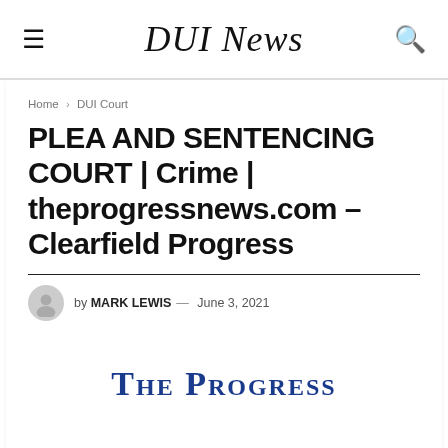DUI News
Home > DUI Court
PLEA AND SENTENCING COURT | Crime | theprogressnews.com – Clearfield Progress
by MARK LEWIS — June 3, 2021
[Figure (logo): The Progress newspaper logo in blue serif font with small caps]